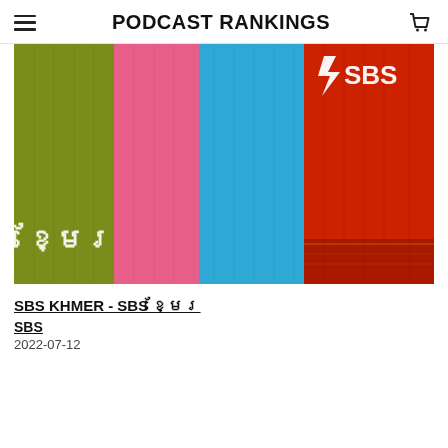PODCAST RANKINGS
[Figure (photo): Colorful fabric rolls (olive green, pink, blue, red/orange) with SBS logo in top right and Khmer script text in bottom left]
SBS KHMER - SBS ខ្មែរ
SBS
2022-07-12